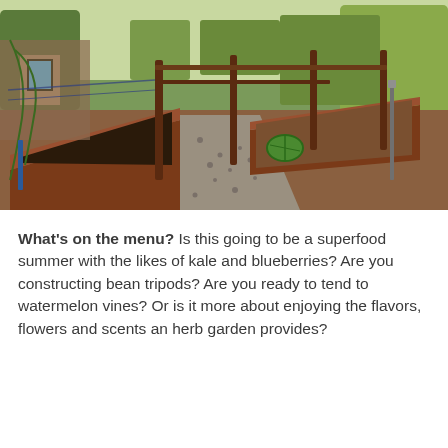[Figure (photo): Outdoor raised garden beds made of reddish-brown wood planks arranged along a gravel path, with wooden support posts and trellises, a small shed visible in the background, trees and greenery surrounding the area, and a watermelon visible in one of the beds.]
What's on the menu? Is this going to be a superfood summer with the likes of kale and blueberries? Are you constructing bean tripods? Are you ready to tend to watermelon vines? Or is it more about enjoying the flavors, flowers and scents an herb garden provides?